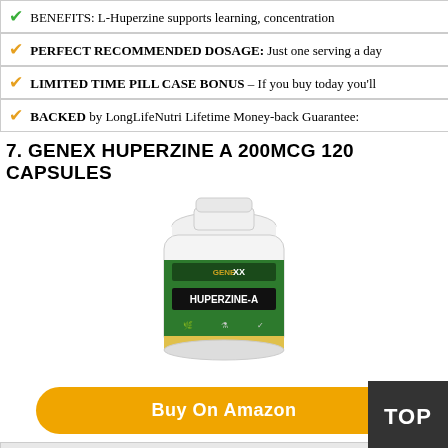BENEFITS: L-Huperzine supports learning, concentration
PERFECT RECOMMENDED DOSAGE: Just one serving a day
LIMITED TIME PILL CASE BONUS – If you buy today you'll
BACKED by LongLifeNutri Lifetime Money-back Guarantee:
7. GENEX HUPERZINE A 200MCG 120 CAPSULES
[Figure (photo): White bottle with green label reading HUPERZINE-A, Genex brand]
Buy On Amazon
TOP
Features:
Huperzine A helps slow the breakdown of Acetylcholine by
(second item, partially visible)